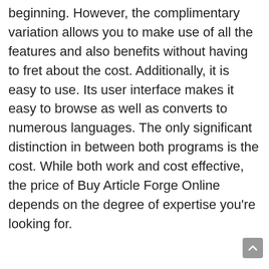beginning. However, the complimentary variation allows you to make use of all the features and also benefits without having to fret about the cost. Additionally, it is easy to use. Its user interface makes it easy to browse as well as converts to numerous languages. The only significant distinction in between both programs is the cost. While both work and cost effective, the price of Buy Article Forge Online depends on the degree of expertise you're looking for.
When it comes to writing write-ups, Jarvis is better suited for the job. The artificial intelligence in Jarvis is capable of producing customized short articles. This means that it can